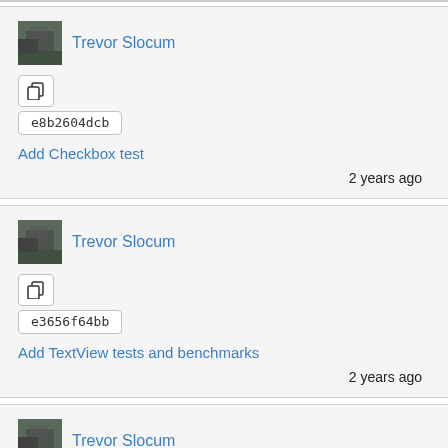Trevor Slocum
e8b2604dcb
Add Checkbox test
2 years ago
Trevor Slocum
e3656f64bb
Add TextView tests and benchmarks
2 years ago
Trevor Slocum